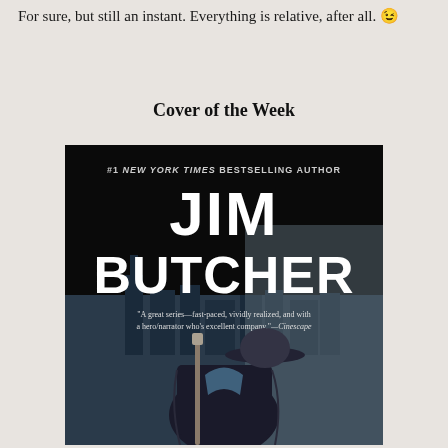For sure, but still an instant. Everything is relative, after all. 😉
Cover of the Week
[Figure (photo): Book cover for Jim Butcher, labeled '#1 New York Times Bestselling Author' with a quote: 'A great series—fast-paced, vividly realized, and with a hero/narrator who's excellent company.' —Cinescape. Shows a figure in a wide-brimmed hat and cape holding a staff, with a city skyline in the background.]